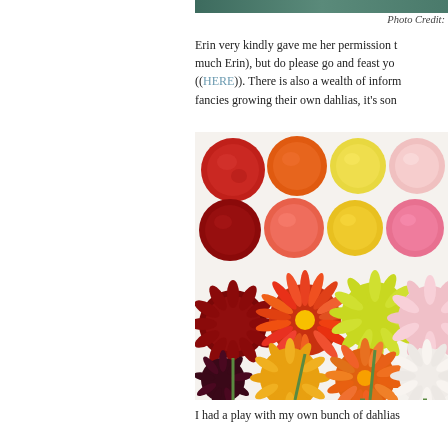[Figure (photo): Top strip of a nature/garden photo, dark teal/green tones, partially visible at top of page]
Photo Credit:
Erin very kindly gave me her permission to use her images (thank you so much Erin), but do please go and feast your eyes on her wonderful blog ((HERE)). There is also a wealth of information there for anyone who fancies growing their own dahlias, it's som
[Figure (photo): A flat lay photo showing yarn balls in warm colors (red, orange, yellow, pink, cream) arranged in rows above dahlia flowers in matching warm colors (red, orange, yellow, pink, white) on a white background]
I had a play with my own bunch of dahlias